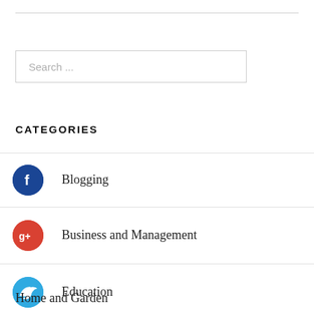[Figure (other): Search input box with placeholder text 'Search ...']
CATEGORIES
Blogging
Business and Management
Education
Health and Fitness
Home and Garden